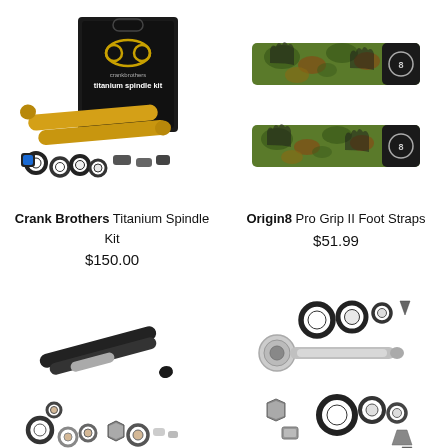[Figure (photo): Crank Brothers Titanium Spindle Kit product photo showing gold spindles, bearings, spacers, and retail box]
Crank Brothers
Titanium Spindle Kit
$150.00
[Figure (photo): Origin8 Pro Grip II Foot Straps product photo showing two camouflage patterned straps]
Origin8
Pro Grip II Foot Straps
$51.99
[Figure (photo): Bicycle pedal spindle rebuild kit with black spindles and various small bearings and spacers]
[Figure (photo): Bicycle pedal spindle rebuild kit with silver spindle bolt and various rings and hardware pieces]